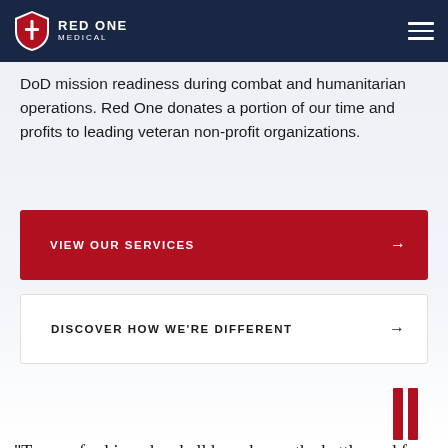Red One Medical
adequate logistical support speeds delivery to government medical treatment facilities. Our products increase DoD mission readiness during combat and humanitarian operations. Red One donates a portion of our time and profits to leading veteran non-profit organizations.
VIEW OUR SERVICES →
DISCOVER HOW WE'RE DIFFERENT →
"To care for him who shall have borne the battle, and for his widow, and his orphan"